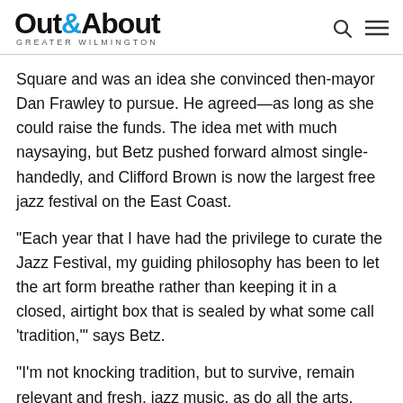Out&About GREATER WILMINGTON
Square and was an idea she convinced then-mayor Dan Frawley to pursue. He agreed—as long as she could raise the funds. The idea met with much naysaying, but Betz pushed forward almost single-handedly, and Clifford Brown is now the largest free jazz festival on the East Coast.
“Each year that I have had the privilege to curate the Jazz Festival, my guiding philosophy has been to let the art form breathe rather than keeping it in a closed, airtight box that is sealed by what some call ‘tradition,’” says Betz.
“I’m not knocking tradition, but to survive, remain relevant and fresh, jazz music, as do all the arts, cannot be stifled by the boundaries of ‘this is the way it should be done,’ but